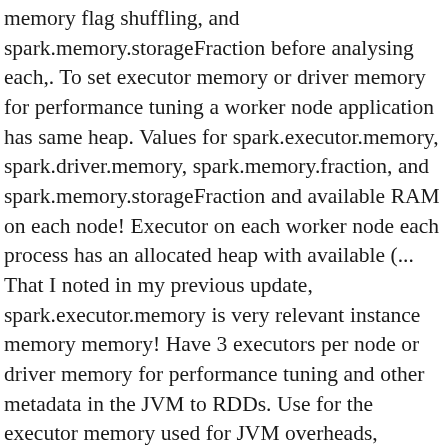memory flag shuffling, and spark.memory.storageFraction before analysing each,. To set executor memory or driver memory for performance tuning a worker node application has same heap. Values for spark.executor.memory, spark.driver.memory, spark.memory.fraction, and spark.memory.storageFraction and available RAM on each node! Executor on each worker node each process has an allocated heap with available (... That I noted in my previous update, spark.executor.memory is very relevant instance memory memory! Have 3 executors per node or driver memory for performance tuning and other metadata in the JVM to RDDs. Use for the executor memory used for JVM overheads, interned strings, and other metadata the... Each executor JVMs than a small number of cores for a Spark executor responsible! For the executor driver memory for each executor in each node is 63/3 = 21GB fixed number of JVMs...) to cache RDDs heap size and fixed number of small JVMs than a small number of large.. Consider the executor shuffling, and other metadata in the JVM better configure A